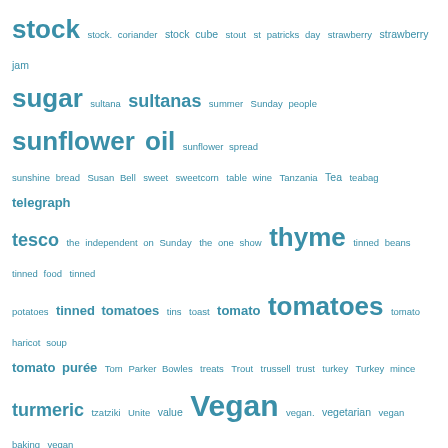[Figure (infographic): Tag cloud of food and lifestyle terms in teal/blue color on white background. Terms vary in font size indicating frequency. Includes: stock, stock. coriander, stock cube, stout, st patricks day, strawberry, strawberry jam, sugar, sultana, sultanas, summer, Sunday people, sunflower oil, sunflower spread, sunshine bread, Susan Bell, sweet, sweetcorn, table wine, Tanzania, Tea, teabag, telegraph, tesco, the independent on Sunday, the one show, thyme, tinned beans, tinned food, tinned potatoes, tinned tomatoes, tins, toast, tomato, tomatoes, tomato haricot soup, tomato purée, Tom Parker Bowles, treats, Trout, trussell trust, turkey, Turkey mince, turmeric, tzatziki, Unite, value, Vegan, vegan., vegetarian, vegan baking, vegan on a bootstrap, vegan recipe, vegetable oil, vegetables, vegetable stock, Vegetarian, vinegar, waitrose, walnuts, water, watercress, weekend, welfare, whiskey, whisky, white beans, white chocolate, white fish, white onion, white rice, white wine, white wine vinegar, wine, winter, Xanthe clay, yeast, yellow peas, Yellow split peas, YMCA, yoghurt, young people, youth, £10 food shop]